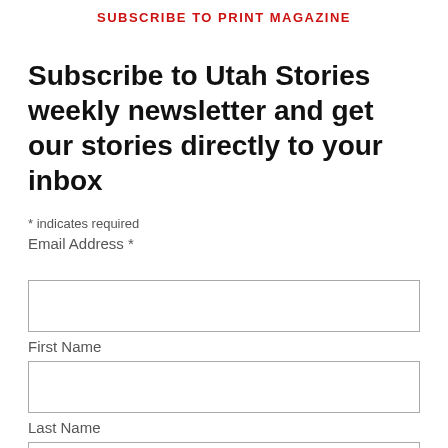SUBSCRIBE TO PRINT MAGAZINE
Subscribe to Utah Stories weekly newsletter and get our stories directly to your inbox
* indicates required
Email Address *
First Name
Last Name